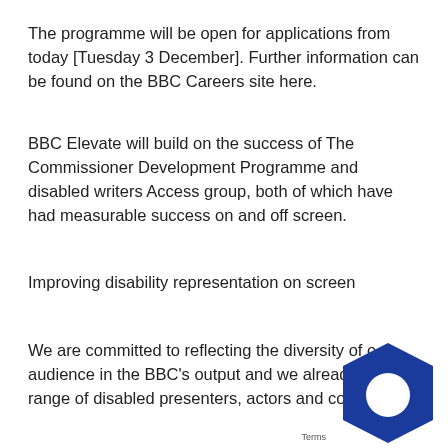The programme will be open for applications from today [Tuesday 3 December]. Further information can be found on the BBC Careers site here.
BBC Elevate will build on the success of The Commissioner Development Programme and disabled writers Access group, both of which have had measurable success on and off screen.
Improving disability representation on screen
We are committed to reflecting the diversity of our audience in the BBC's output and we already ha... range of disabled presenters, actors and contributors